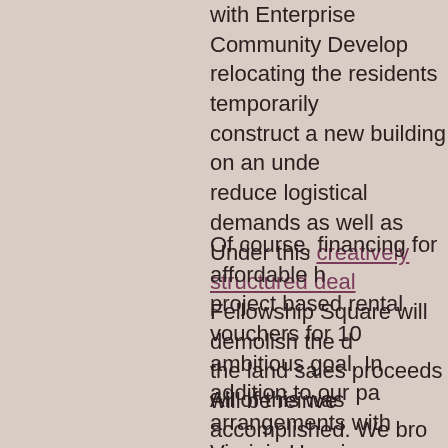with Enterprise Community Develop relocating the residents temporarily construct a new building on an unde reduce logistical demands as well as Under this creatively structured deal Fellowship Square will demolish the d the land sales proceeds will be reinve
Of course, financing for affordable h project based rental vouchers for 10 ambitious goal. In addition to our pa arrangements with Virginia Housing Low-Income Housing Tax Credit equ Capital One, Enterprise Community I and, of course, HUD. In fact, much ti need to preserve the deep subsidies would be eligible to move to the new accommodated.
All of this was accomplished. We bro will relocate this spring to the newly